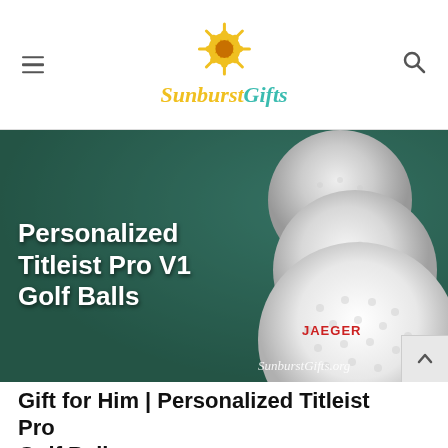Sunburst Gifts
[Figure (photo): Three white Titleist Pro V1 golf balls on a dark green surface, with text overlay reading 'Personalized Titleist Pro V1 Golf Balls', 'JAEGER' in red on the front ball, and 'SunburstGifts.org' watermark at bottom right.]
Gift for Him | Personalized Titleist Pro Golf Balls